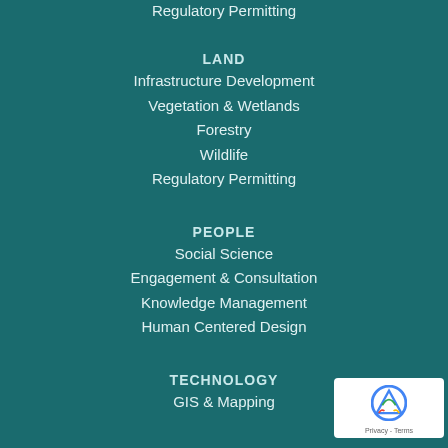Regulatory Permitting
LAND
Infrastructure Development
Vegetation & Wetlands
Forestry
Wildlife
Regulatory Permitting
PEOPLE
Social Science
Engagement & Consultation
Knowledge Management
Human Centered Design
TECHNOLOGY
GIS & Mapping